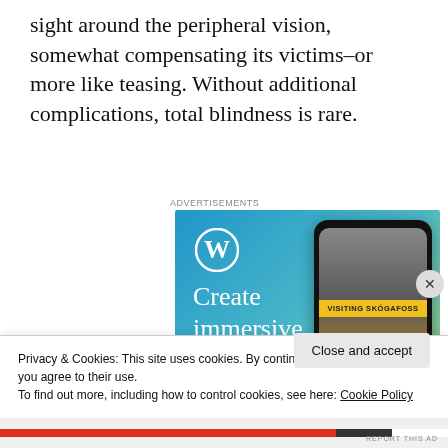sight around the peripheral vision, somewhat compensating its victims–or more like teasing. Without additional complications, total blindness is rare.
[Figure (screenshot): WordPress advertisement showing 'Create immersive stories.' text with WordPress logo and a phone mockup displaying a waterfall photo with 'VISITING SKÓGAFOSS' banner]
Privacy & Cookies: This site uses cookies. By continuing to use this website, you agree to their use.
To find out more, including how to control cookies, see here: Cookie Policy
Close and accept